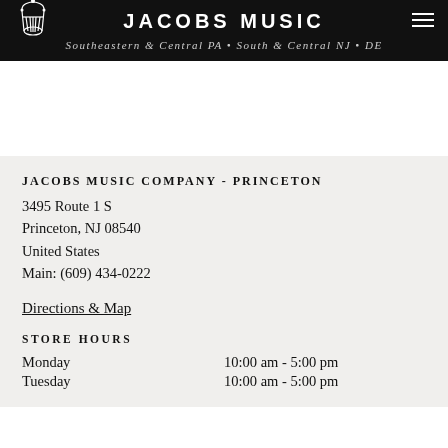JACOBS MUSIC — Southeastern & Central PA • South & Central NJ • DE
JACOBS MUSIC COMPANY - PRINCETON
3495 Route 1 S
Princeton, NJ 08540
United States
Main: (609) 434-0222
Directions & Map
STORE HOURS
| Day | Hours |
| --- | --- |
| Monday | 10:00 am - 5:00 pm |
| Tuesday | 10:00 am - 5:00 pm |